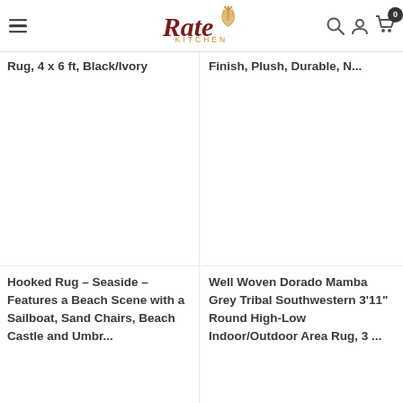Rate Kitchen
Rug, 4 x 6 ft, Black/Ivory
Finish, Plush, Durable, N...
Hooked Rug - Seaside - Features a Beach Scene with a Sailboat, Sand Chairs, Beach Castle and Umbr...
Well Woven Dorado Mamba Grey Tribal Southwestern 3'11" Round High-Low Indoor/Outdoor Area Rug, 3 ...